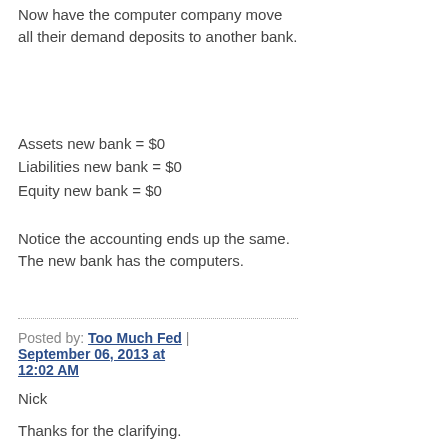Now have the computer company move all their demand deposits to another bank.
Assets new bank = $0
Liabilities new bank = $0
Equity new bank = $0
Notice the accounting ends up the same. The new bank has the computers.
Posted by: Too Much Fed | September 06, 2013 at 12:02 AM
Nick
Thanks for the clarifying.